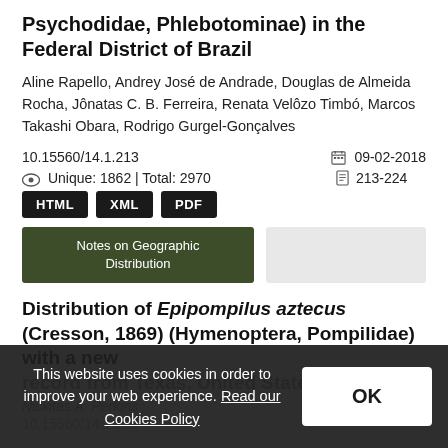Psychodidae, Phlebotominae) in the Federal District of Brazil
Aline Rapello, Andrey José de Andrade, Douglas de Almeida Rocha, Jônatas C. B. Ferreira, Renata Velôzo Timbó, Marcos Takashi Obara, Rodrigo Gurgel-Gonçalves
10.15560/14.1.213
09-02-2018
Unique: 1862 | Total: 2970
213-224
HTML
XML
PDF
Notes on Geographic Distribution
Distribution of Epipompilus aztecus (Cresson, 1869) (Hymenoptera, Pompilidae) with a new record from Texas, United States
Nickitas A. Perkins
10.15560/14.1.225
This website uses cookies in order to improve your web experience. Read our Cookies Policy
OK